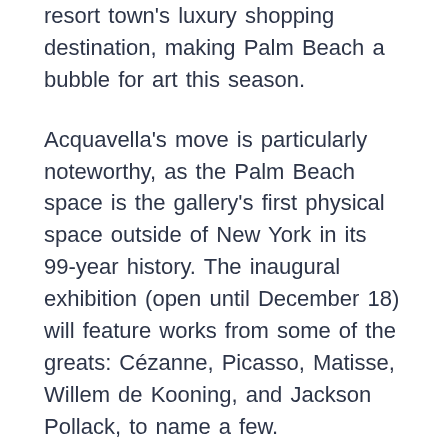resort town's luxury shopping destination, making Palm Beach a bubble for art this season.
Acquavella's move is particularly noteworthy, as the Palm Beach space is the gallery's first physical space outside of New York in its 99-year history. The inaugural exhibition (open until December 18) will feature works from some of the greats: Cézanne, Picasso, Matisse, Willem de Kooning, and Jackson Pollack, to name a few.
Sotheby's also made a conscious investment in Palm Beach, opening a massive 2,700 square foot gallery earlier this year. The auction house